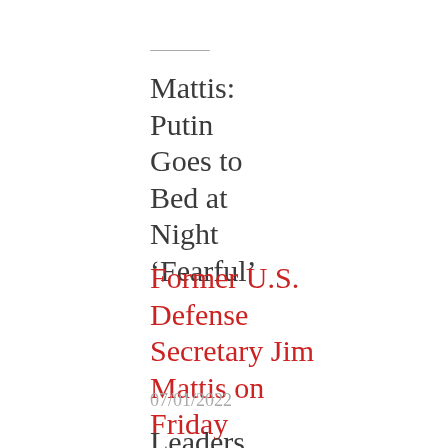Mattis: Putin Goes to Bed at Night 'Fearful'
Former U.S. Defense Secretary Jim Mattis on Friday
07/01/2022
Leaders